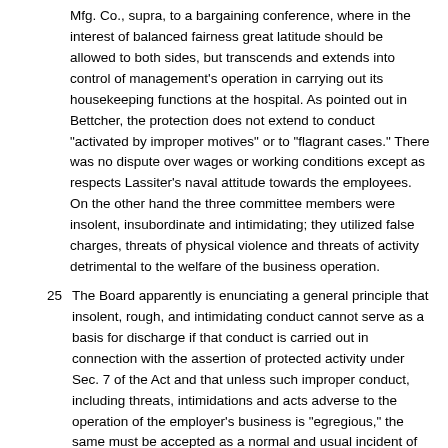Mfg. Co., supra, to a bargaining conference, where in the interest of balanced fairness great latitude should be allowed to both sides, but transcends and extends into control of management's operation in carrying out its housekeeping functions at the hospital. As pointed out in Bettcher, the protection does not extend to conduct "activated by improper motives" or to "flagrant cases." There was no dispute over wages or working conditions except as respects Lassiter's naval attitude towards the employees. On the other hand the three committee members were insolent, insubordinate and intimidating; they utilized false charges, threats of physical violence and threats of activity detrimental to the welfare of the business operation.
25 The Board apparently is enunciating a general principle that insolent, rough, and intimidating conduct cannot serve as a basis for discharge if that conduct is carried out in connection with the assertion of protected activity under Sec. 7 of the Act and that unless such improper conduct, including threats, intimidations and acts adverse to the operation of the employer's business is "egregious," the same must be accepted as a normal and usual incident of labor-management relationships.
26 It is of course understandable that tempers may flare in the course of grievance meetings and that harsh and rough words may be